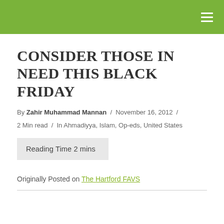CONSIDER THOSE IN NEED THIS BLACK FRIDAY
By Zahir Muhammad Mannan / November 16, 2012 / 2 Min read / In Ahmadiyya, Islam, Op-eds, United States
Reading Time 2 mins
Originally Posted on The Hartford FAVS